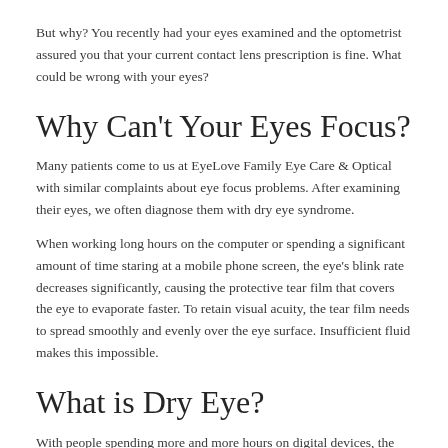But why? You recently had your eyes examined and the optometrist assured you that your current contact lens prescription is fine. What could be wrong with your eyes?
Why Can't Your Eyes Focus?
Many patients come to us at EyeLove Family Eye Care & Optical with similar complaints about eye focus problems. After examining their eyes, we often diagnose them with dry eye syndrome.
When working long hours on the computer or spending a significant amount of time staring at a mobile phone screen, the eye's blink rate decreases significantly, causing the protective tear film that covers the eye to evaporate faster. To retain visual acuity, the tear film needs to spread smoothly and evenly over the eye surface. Insufficient fluid makes this impossible.
What is Dry Eye?
With people spending more and more hours on digital devices, the